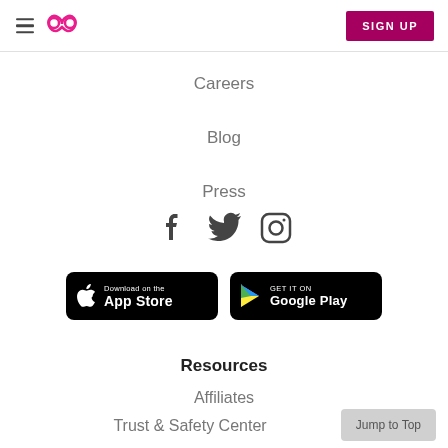Navigation header with hamburger menu, Badoo logo, and SIGN UP button
Careers
Blog
Press
[Figure (infographic): Social media icons: Facebook, Twitter, Instagram]
[Figure (infographic): App store download buttons: Download on the App Store and GET IT ON Google Play]
Resources
Affiliates
Trust & Safety Center